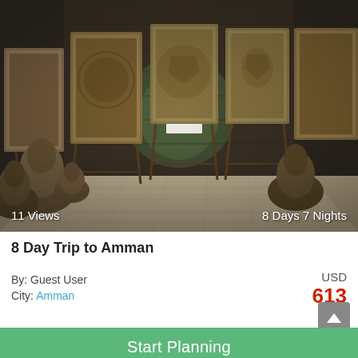[Figure (photo): Interior of an ancient stone room or museum display area with carved stone panels/mosaics on easels, large ceramic pots/amphoras on the floor, stone wall in background with green-lit alcove, stone tile floor.]
11 Views
8 Days 7 Nights
8 Day Trip to Amman
By: Guest User
City: Amman
USD
613
Start Planning